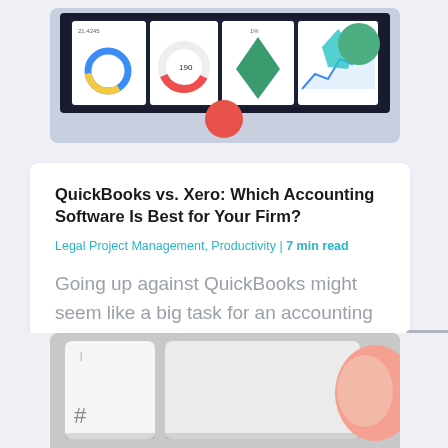[Figure (screenshot): Laptop showing accounting dashboard with charts and analytics, with red and green decorative circles]
QuickBooks vs. Xero: Which Accounting Software Is Best for Your Firm?
Legal Project Management, Productivity | 7 min read
Going up against QuickBooks might seem like a big task for an accounting software, but...
[Figure (photo): Close-up of keyboard keys including hash/pound key with a finger pressing nearby]